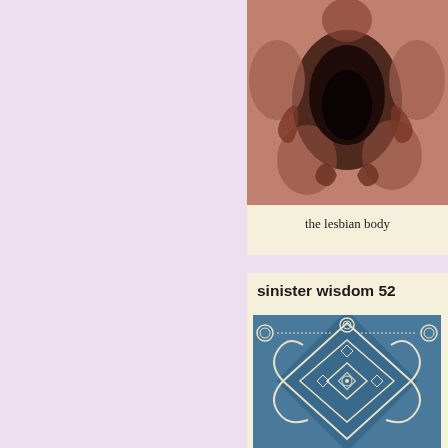[Figure (illustration): Cover of 'The Lesbian Body' — a reddish-toned illustration showing intertwined human figures with hands and bodies in a dark abstract arrangement]
the lesbian body
sinister wisdom 52
[Figure (illustration): Cover of 'Sinister Wisdom 52' — a blue and white geometric/decorative pattern with diamond shapes, circular ornaments, and stylized swirling figures]